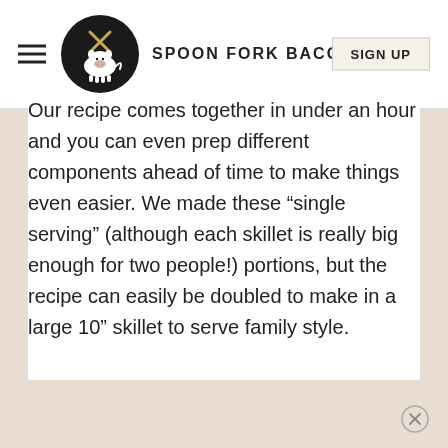SPOON FORK BACON
Our recipe comes together in under an hour and you can even prep different components ahead of time to make things even easier. We made these “single serving” (although each skillet is really big enough for two people!) portions, but the recipe can easily be doubled to make in a large 10” skillet to serve family style.